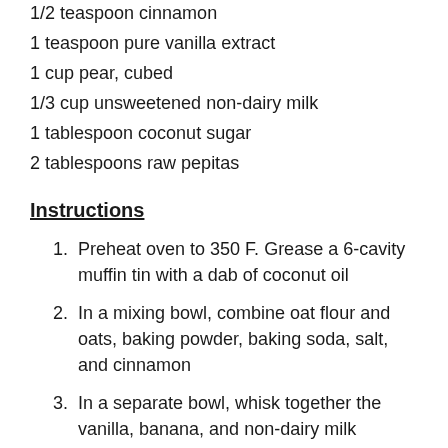1/2 teaspoon cinnamon
1 teaspoon pure vanilla extract
1 cup pear, cubed
1/3 cup unsweetened non-dairy milk
1 tablespoon coconut sugar
2 tablespoons raw pepitas
Instructions
Preheat oven to 350 F. Grease a 6-cavity muffin tin with a dab of coconut oil
In a mixing bowl, combine oat flour and oats, baking powder, baking soda, salt, and cinnamon
In a separate bowl, whisk together the vanilla, banana, and non-dairy milk